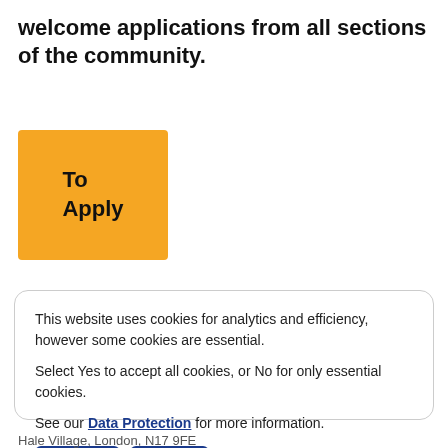welcome applications from all sections of the community.
To Apply
This website uses cookies for analytics and efficiency, however some cookies are essential.

Select Yes to accept all cookies, or No for only essential cookies.

See our Data Protection for more information.
Yes
No
Hale Village, London, N17 9FE